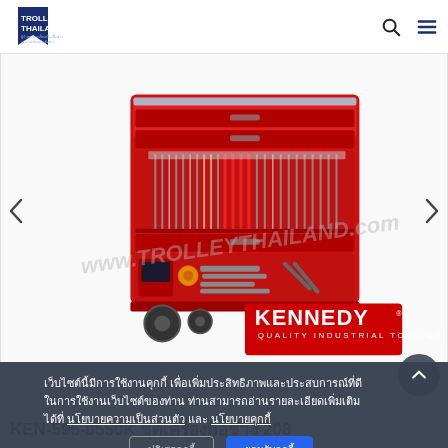TROLLEY THAILAND
[Figure (photo): Red Kennedy tool trolley/cabinet on wheels loaded with various hand tools, with Kennedy Quality Industrial Tooling logo badge in bottom right, and www.TROLLEYTHAILAND.com watermark]
เว็บไซต์นี้มีการใช้งานคุกกี้ เพื่อเพิ่มประสิทธิภาพและประสบการณ์ที่ดีในการใช้งานเว็บไซต์ของท่าน ท่านสามารถอ่านรายละเอียดเพิ่มเติมได้ที่ นโยบายความเป็นส่วนตัว และ นโยบายคุกกี้
ปฏิเสธคุกกี้
ยอมรับคุกกี้
KEN-595-0550K ชุดเครื่องมือช่าง 208